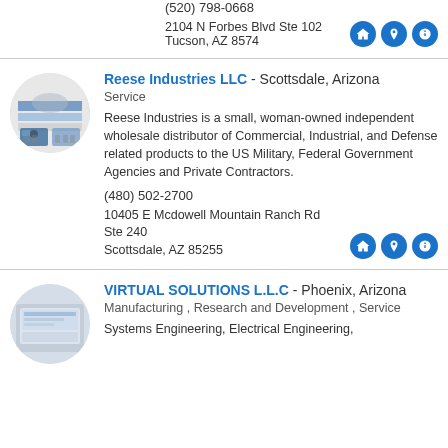(520) 798-0668
2104 N Forbes Blvd Ste 102 Tucson, AZ 8574
Reese Industries LLC - Scottsdale, Arizona
Service
Reese Industries is a small, woman-owned independent wholesale distributor of Commercial, Industrial, and Defense related products to the US Military, Federal Government Agencies and Private Contractors.
(480) 502-2700
10405 E Mcdowell Mountain Ranch Rd Ste 240 Scottsdale, AZ 85255
VIRTUAL SOLUTIONS L.L.C - Phoenix, Arizona
Manufacturing , Research and Development , Service
Systems Engineering, Electrical Engineering,